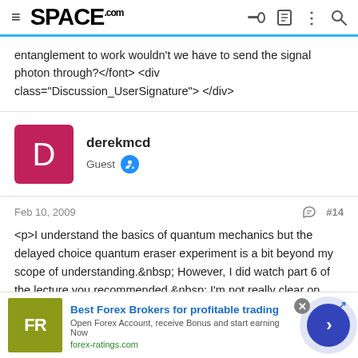SPACE.com
entanglement to work wouldn't we have to send the signal photon through?</font> <div class="Discussion_UserSignature"> </div>
derekmcd
Guest
Feb 10, 2009  #14
<p>I understand the basics of quantum mechanics but the delayed choice quantum eraser experiment is a bit beyond my scope of understanding.&nbsp; However, I did watch part 6 of the lecture you recommended.&nbsp; I'm not really clear on how his theory differs from the original experiment.&nbsp; The only real flaw I could find is
[Figure (screenshot): Advertisement banner: Best Forex Brokers for profitable trading - forex-ratings.com]